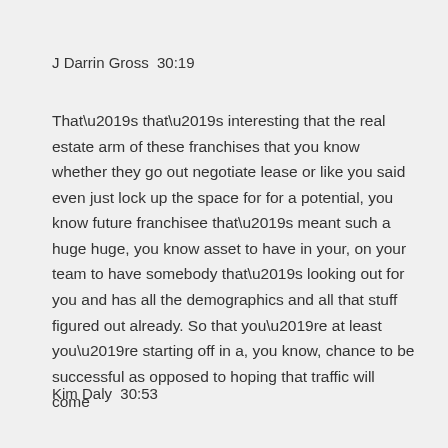J Darrin Gross  30:19
That’s that’s interesting that the real estate arm of these franchises that you know whether they go out negotiate lease or like you said even just lock up the space for for a potential, you know future franchisee that’s meant such a huge huge, you know asset to have in your, on your team to have somebody that’s looking out for you and has all the demographics and all that stuff figured out already. So that you’re at least you’re starting off in a, you know, chance to be successful as opposed to hoping that traffic will come
Kim Daly  30:53